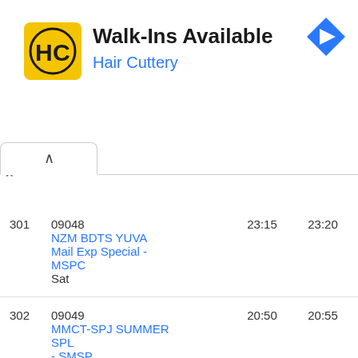[Figure (logo): Hair Cuttery advertisement banner with HC logo, 'Walk-Ins Available' heading, 'Hair Cuttery' subtitle in blue, navigation arrow icon top right, and play/close controls on left]
| # | Train | Dep | Arr |
| --- | --- | --- | --- |
| 301 | 09048
NZM BDTS YUVA
Mail Exp Special - MSPC
Sat | 23:15 | 23:20 |
| 302 | 09049
MMCT-SPJ SUMMER SPL
- SMSP
Mon Tue Thu Sat | 20:50 | 20:55 |
| 303 | 09050
SJP-MMCT SUMMER SPL | 07:00 | 07:05 |